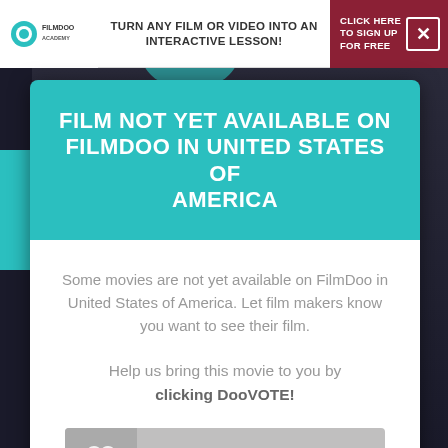TURN ANY FILM OR VIDEO INTO AN INTERACTIVE LESSON!
CLICK HERE TO SIGN UP FOR FREE
FILM NOT YET AVAILABLE ON FILMDOO IN UNITED STATES OF AMERICA
Some movies are not yet available on FilmDoo in United States of America. Let film makers know you want to see their film.
Help us bring this movie to you by clicking DooVOTE!
DooVOTE